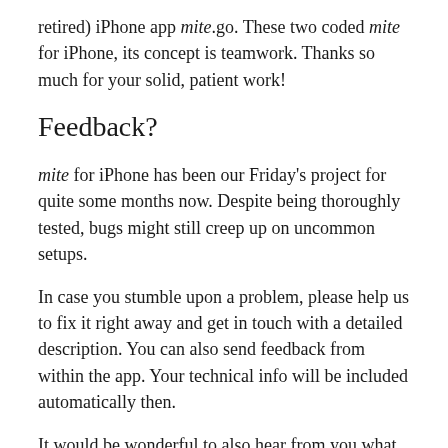retired) iPhone app mite.go. These two coded mite for iPhone, its concept is teamwork. Thanks so much for your solid, patient work!
Feedback?
mite for iPhone has been our Friday’s project for quite some months now. Despite being thoroughly tested, bugs might still creep up on uncommon setups.
In case you stumble upon a problem, please help us to fix it right away and get in touch with a detailed description. You can also send feedback from within the app. Your technical info will be included automatically then.
It would be wonderful to also hear from you what you appreciate about the app, what’s unclear to you, or what’s urgently missing.